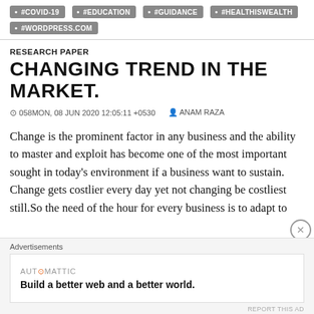#COVID-19
#EDUCATION
#GUIDANCE
#HEALTHISWEALTH
#WORDPRESS.COM
RESEARCH PAPER
CHANGING TREND IN THE MARKET.
058MON, 08 JUN 2020 12:05:11 +0530   ANAM RAZA
Change is the prominent factor in any business and the ability to master and exploit has become one of the most important sought in today’s environment if a business want to sustain. Change gets costlier every day yet not changing be costliest still.So the need of the hour for every business is to adapt to
Advertisements
AUTOMATTIC
Build a better web and a better world.